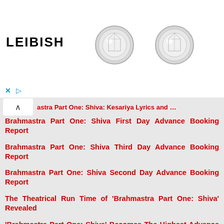[Figure (photo): Advertisement banner for LEIBISH featuring two round diamond stud earrings on white background with X and play button controls]
astra Part One: Shiva: Kesariya Lyrics and Information
Brahmastra Part One: Shiva First Day Advance Booking Report
Brahmastra Part One: Shiva Third Day Advance Booking Report
Brahmastra Part One: Shiva Second Day Advance Booking Report
The Theatrical Run Time of 'Brahmastra Part One: Shiva' Revealed
'Brahmastra Part One: Shiva' Becomes The Highest Advance Sales Scorer Bollywood Movie of 2022
After Box Office, Tom Cruise's 'Top Gun Maverick' Breaks Digital Sales Record
Disney Studios 'Black Panther 2' And 'Avatar 2' Trailers Attached To The 'Brahmastra' In Theaters